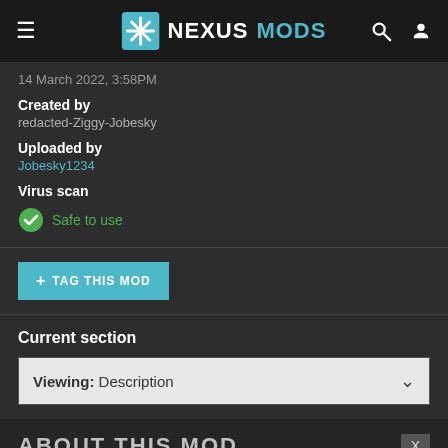NEXUSMODS
14 March 2022,  3:58PM
Created by
redacted-Ziggy-Jobesky
Uploaded by
Jobesky1234
Virus scan
Safe to use
+ TAG THIS MOD
Current section
Viewing: Description
ABOUT THIS MOD
This is an edited version of Ziggy's mod's latest Hardcore edition built to my specifications and tastes.